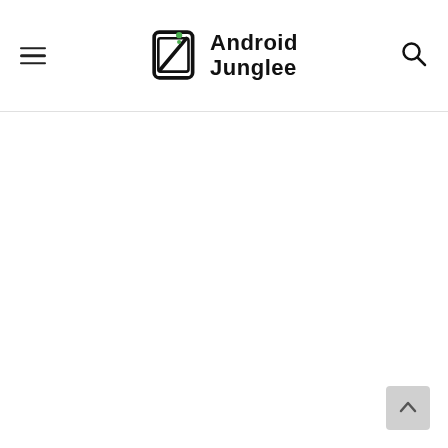Android Junglee
[Figure (logo): Android Junglee logo: a stylized tablet/phone device icon with a lightning bolt and Android robot antenna, next to the text 'Android Junglee' in bold black sans-serif on two lines.]